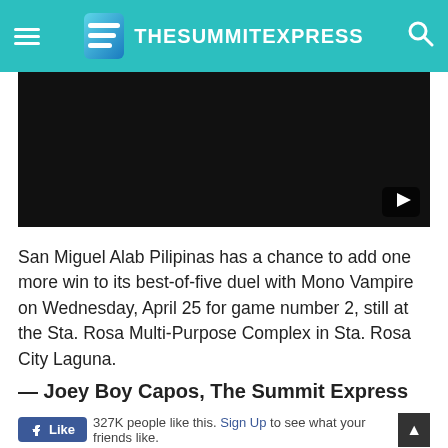TheSummitExpress
[Figure (screenshot): Black video player embed area with a YouTube play button icon in the bottom right corner]
San Miguel Alab Pilipinas has a chance to add one more win to its best-of-five duel with Mono Vampire on Wednesday, April 25 for game number 2, still at the Sta. Rosa Multi-Purpose Complex in Sta. Rosa City Laguna.
— Joey Boy Capos, The Summit Express
327K people like this. Sign Up to see what your friends like.
815 Shares  789